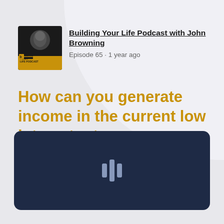[Figure (logo): Building Your Life Podcast thumbnail - dark background with person and yellow accent, text reads BUILDING YOUR LIFE PODCAST]
Building Your Life Podcast with John Browning
Episode 65 · 1 year ago
How can you generate income in the current low interest rate environment?
[Figure (screenshot): Dark navy audio player panel with waveform/equalizer icon in the center]